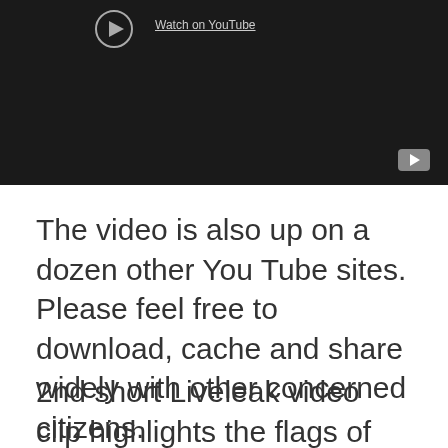[Figure (screenshot): YouTube video embed screenshot with dark background, 'Watch on YouTube' link, and YouTube play button in bottom right corner]
The video is also up on a dozen other You Tube sites. Please feel free to download, cache and share widely with other concerned citizens.
2nd short Liveleak video clip highlights the flags of the 'Syrian